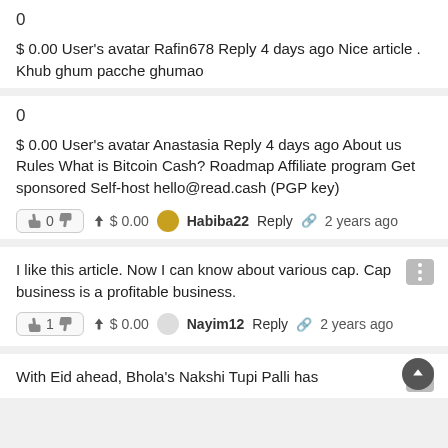0
$ 0.00 User's avatar Rafin678 Reply 4 days ago Nice article . Khub ghum pacche ghumao
0
$ 0.00 User's avatar Anastasia Reply 4 days ago About us Rules What is Bitcoin Cash? Roadmap Affiliate program Get sponsored Self-host hello@read.cash (PGP key)
👍 0 👎 ↑ $ 0.00 Habiba22 Reply 🔗 2 years ago
I like this article. Now I can know about various cap. Cap business is a profitable business.
👍 1 👎 ↑ $ 0.00 Nayim12 Reply 🔗 2 years ago
With Eid ahead, Bhola's Nakshi Tupi Palli has